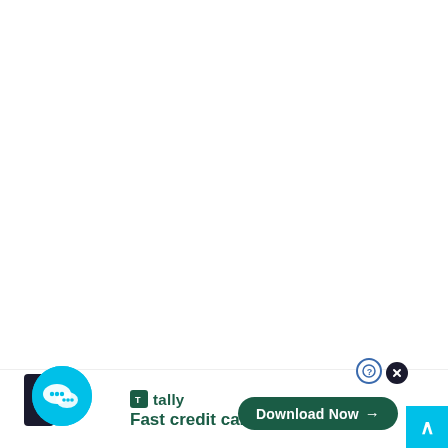[Figure (screenshot): Tally app advertisement banner at the bottom of a mostly white page. Features a blue circular chat icon on the left, Tally logo and tagline 'Fast credit card payoff' in the center, and a dark green 'Download Now' button with arrow on the right. A close (X) button and a help (?) button appear above the download button. A cyan scroll-up arrow button is in the bottom-right corner.]